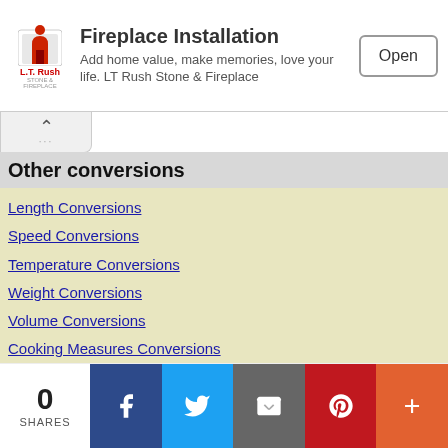[Figure (other): Advertisement banner for LT Rush Stone & Fireplace showing logo, text 'Fireplace Installation - Add home value, make memories, love your life. LT Rush Stone & Fireplace' and an Open button]
Other conversions
Length Conversions
Speed Conversions
Temperature Conversions
Weight Conversions
Volume Conversions
Cooking Measures Conversions
Currency Conversions
Area Conversions
Data Storage Conversions
Time Conversions
Power Conversions
0 SHARES | Facebook | Twitter | Email | Pinterest | More